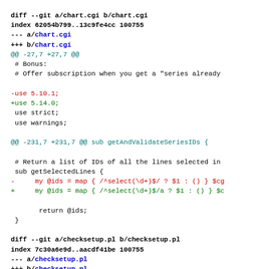diff --git a/chart.cgi b/chart.cgi
index 62054b799..13c9fe4cc 100755
--- a/chart.cgi
+++ b/chart.cgi
@@ -27,7 +27,7 @@
 # Bonus:
 # Offer subscription when you get a "series already

-use 5.10.1;
+use 5.14.0;
 use strict;
 use warnings;

@@ -231,7 +231,7 @@ sub getAndValidateSeriesIDs {

 # Return a list of IDs of all the lines selected in
 sub getSelectedLines {
-     my @ids = map { /^select(\d+)$/ ? $1 : () } $cg
+     my @ids = map { /^select(\d+)$/a ? $1 : () } $c

        return @ids;
 }

diff --git a/checksetup.pl b/checksetup.pl
index 7c30a6e9d..aacdf41be 100755
--- a/checksetup.pl
+++ b/checksetup.pl
@@ -12,7 +12,7 @@